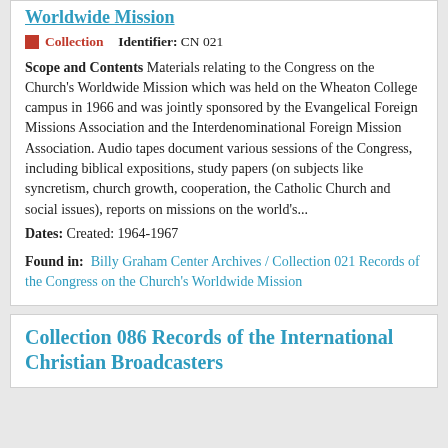Worldwide Mission
Collection   Identifier: CN 021
Scope and Contents Materials relating to the Congress on the Church's Worldwide Mission which was held on the Wheaton College campus in 1966 and was jointly sponsored by the Evangelical Foreign Missions Association and the Interdenominational Foreign Mission Association. Audio tapes document various sessions of the Congress, including biblical expositions, study papers (on subjects like syncretism, church growth, cooperation, the Catholic Church and social issues), reports on missions on the world's...
Dates: Created: 1964-1967
Found in: Billy Graham Center Archives / Collection 021 Records of the Congress on the Church's Worldwide Mission
Collection 086 Records of the International Christian Broadcasters